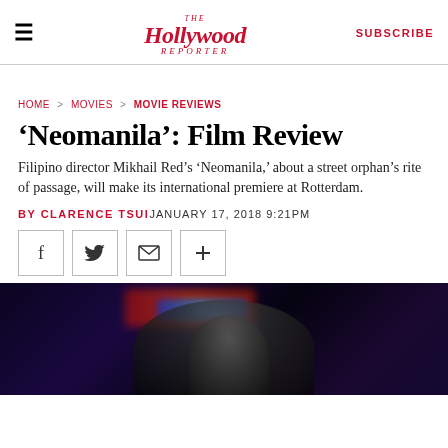The Hollywood Reporter | SUBSCRIBE
HOME > MOVIES > MOVIE REVIEWS
'Neomanila': Film Review
Filipino director Mikhail Red's 'Neomanila,' about a street orphan's rite of passage, will make its international premiere at Rotterdam.
BY CLARENCE TSUI  JANUARY 17, 2018 9:21PM
[Figure (photo): Dark cinematic still from Neomanila showing a figure silhouetted against neon lights in a night cityscape]
[Figure (other): Social share buttons: Facebook, Twitter, Email, More (+)]